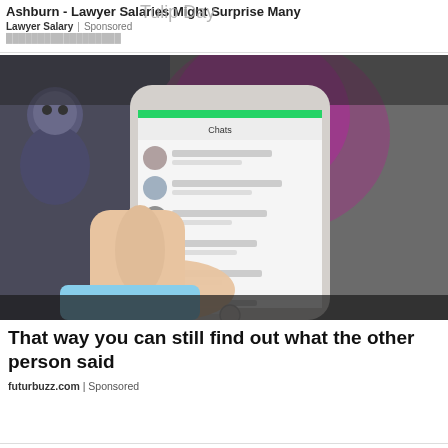Ashburn - Lawyer Salaries Might Surprise Many
Lawyer Salary | Sponsored
[Figure (photo): A hand holding an iPhone displaying a WhatsApp or messaging app chat list, with a computer monitor visible in the background showing a tutorial page and Mac dock icons.]
That way you can still find out what the other person said
futurbuzz.com | Sponsored